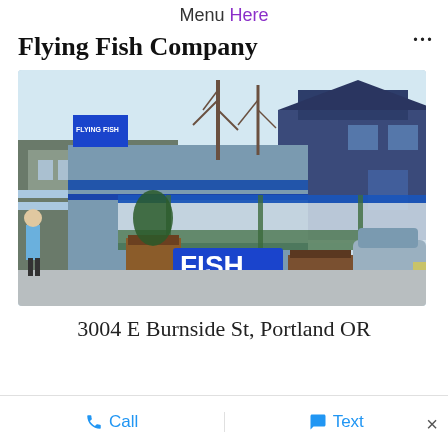Menu Here
Flying Fish Company
[Figure (photo): Exterior photo of Flying Fish Company restaurant in Portland, Oregon. A blue building with a 'FLYING FISH' sign, outdoor covered patio with planters, and a large blue 'FISH' sign in the foreground parking area. Bare winter trees visible in background.]
3004 E Burnside St, Portland OR
Call   Text